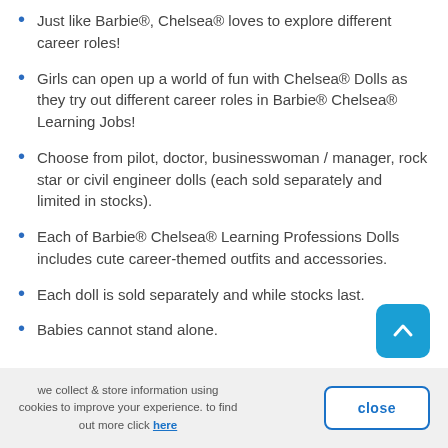Just like Barbie®, Chelsea® loves to explore different career roles!
Girls can open up a world of fun with Chelsea® Dolls as they try out different career roles in Barbie® Chelsea® Learning Jobs!
Choose from pilot, doctor, businesswoman / manager, rock star or civil engineer dolls (each sold separately and limited in stocks).
Each of Barbie® Chelsea® Learning Professions Dolls includes cute career-themed outfits and accessories.
Each doll is sold separately and while stocks last.
Babies cannot stand alone.
we collect & store information using cookies to improve your experience. to find out more click here